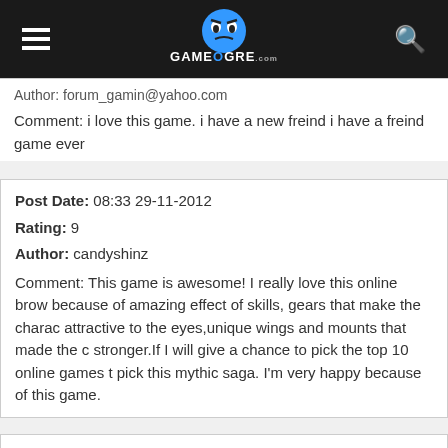GameOgre.com
Author: forum_gamin@yahoo.com
Comment: i love this game. i have a new freind i have a freind game ever
Post Date: 08:33 29-11-2012
Rating: 9
Author: candyshinz
Comment: This game is awesome! I really love this online brow because of amazing effect of skills, gears that make the charac attractive to the eyes,unique wings and mounts that made the c stronger.If I will give a chance to pick the top 10 online games t pick this mythic saga. I'm very happy because of this game.
Post Date: 20:45 28-11-2012
Rating: 10